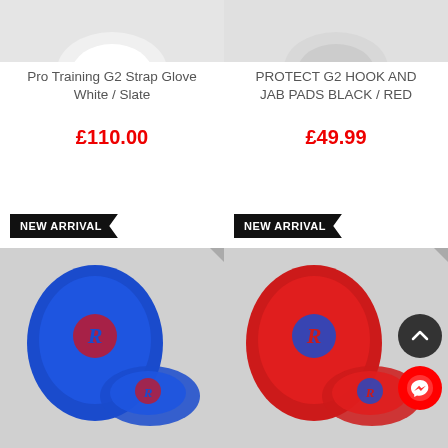[Figure (photo): Cropped top of Pro Training G2 Strap Glove White/Slate product image]
[Figure (photo): Cropped top of PROTECT G2 Hook and Jab Pads Black/Red product image]
Pro Training G2 Strap Glove White / Slate
£110.00
PROTECT G2 HOOK AND JAB PADS BLACK / RED
£49.99
NEW ARRIVAL
NEW ARRIVAL
[Figure (photo): Blue boxing hook and jab pads with red Ringside logo, shown as a pair on grey background]
[Figure (photo): Red boxing hook and jab pads with blue Ringside logo, shown as a pair on grey background, with scroll-up and messenger floating buttons]